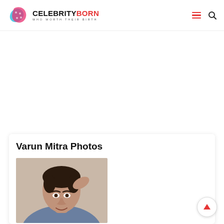CELEBRITYBORN — WHO WORTH THEIR BIRTH
Varun Mitra Photos
[Figure (photo): Photo of Varun Mitra, a young man with dark hair, hand raised to head, wearing a blue shirt, shot against a light beige background.]